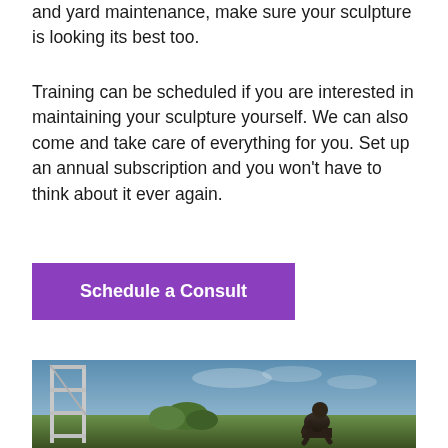and yard maintenance, make sure your sculpture is looking its best too.
Training can be scheduled if you are interested in maintaining your sculpture yourself. We can also come and take care of everything for you. Set up an annual subscription and you won't have to think about it ever again.
Schedule a Consult
[Figure (photo): A bronze sculpture (resembling The Thinker by Rodin) next to scaffolding, outdoors with trees and a blue sky in the background.]